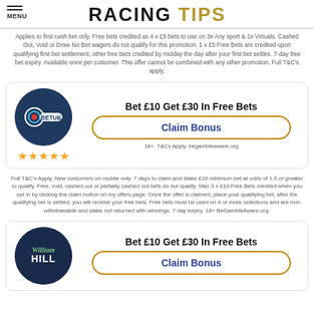RACING TIPS
Applies to first cash bet only. Free bets credited as 4 x £5 bets to use on 3x Any sport & 1x Virtuals. Cashed Out, Void or Draw No Bet wagers do not qualify for this promotion. 1 x £5 Free Bets are credited upon qualifying first bet settlement, other free bets credited by midday the day after your first bet settles. 7-day free bet expiry. Available once per customer. This offer cannot be combined with any other promotion. Full T&C's apply.
[Figure (logo): BetUK.com logo - white text on dark navy circle with target/bullseye icon]
Bet £10 Get £30 In Free Bets
Claim Bonus
18+. T&Cs Apply. begambleaware.org
Full T&C's Apply. New customers on mobile only. 7 days to claim and stake £10 minimum bet at odds of 1.5 or greater to qualify. Free, void, cashed out or partially cashed out bets do not qualify. Max 3 x £10 Free Bets credited when you opt in by clicking the claim button on my offers page. Once the offer is claimed, place your qualifying bet, after the qualifying bet is settled, you will receive your free bets. Free bets must be used on 4 or more selections and are non-withdrawable and stake not returned with winnings. 7 day expiry. 18+ BeGambleAware.org.
[Figure (logo): William Hill logo - white cursive text on dark navy circle]
Bet £10 Get £30 In Free Bets
Claim Bonus